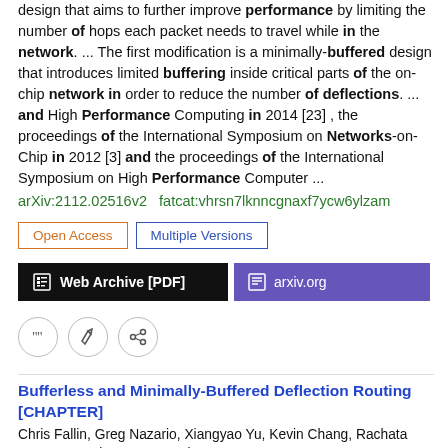design that aims to further improve performance by limiting the number of hops each packet needs to travel while in the network. ... The first modification is a minimally-buffered design that introduces limited buffering inside critical parts of the on-chip network in order to reduce the number of deflections. ... and High Performance Computing in 2014 [23] , the proceedings of the International Symposium on Networks-on-Chip in 2012 [3] and the proceedings of the International Symposium on High Performance Computer ...
arXiv:2112.02516v2  fatcat:vhrsn7lknncgnaxf7ycw6ylzam
Open Access | Multiple Versions
Web Archive [PDF] | arxiv.org
Bufferless and Minimally-Buffered Deflection Routing [CHAPTER]
Chris Fallin, Greg Nazario, Xiangyao Yu, Kevin Chang, Rachata Ausavarungnirun, Onur Mutlu
2013 Routing Algorithms in Networks-on-Chip
constitute 80-90% of interconnect power in future systems [7]. 2 In